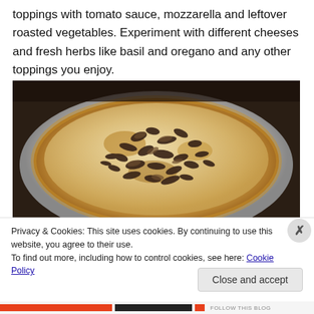toppings with tomato sauce, mozzarella and leftover roasted vegetables. Experiment with different cheeses and fresh herbs like basil and oregano and any other toppings you enjoy.
[Figure (photo): A pizza topped with mushrooms and melted cheese, served on a silver/gray plate, photographed from above at an angle.]
Privacy & Cookies: This site uses cookies. By continuing to use this website, you agree to their use.
To find out more, including how to control cookies, see here: Cookie Policy
Close and accept
FOLLOW THIS BLOG